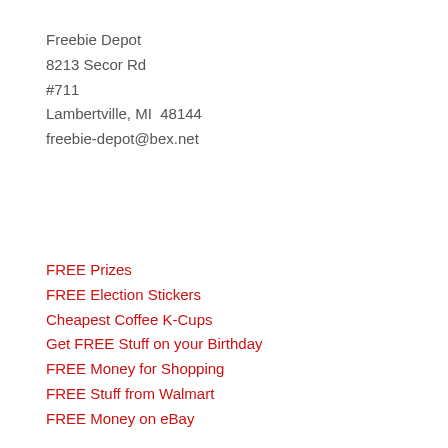Freebie Depot
8213 Secor Rd
#711
Lambertville, MI  48144
freebie-depot@bex.net
FREE Prizes
FREE Election Stickers
Cheapest Coffee K-Cups
Get FREE Stuff on your Birthday
FREE Money for Shopping
FREE Stuff from Walmart
FREE Money on eBay